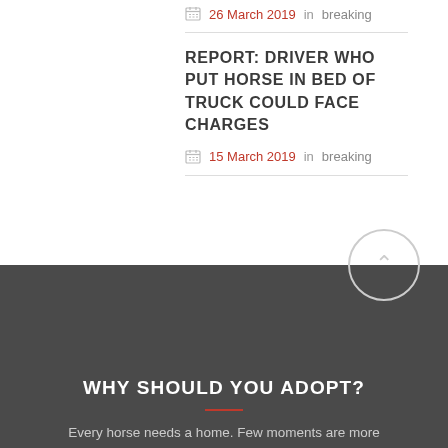26 March 2019 in breaking
REPORT: DRIVER WHO PUT HORSE IN BED OF TRUCK COULD FACE CHARGES
15 March 2019 in breaking
WHY SHOULD YOU ADOPT?
Every horse needs a home. Few moments are more